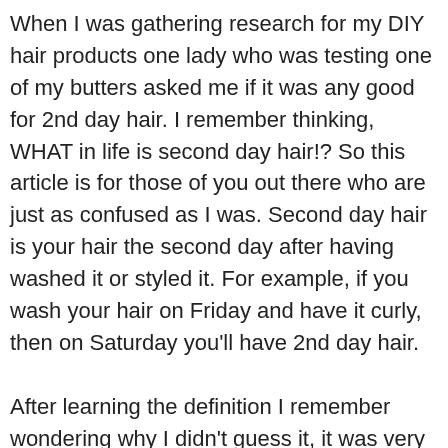When I was gathering research for my DIY hair products one lady who was testing one of my butters asked me if it was any good for 2nd day hair. I remember thinking, WHAT in life is second day hair!? So this article is for those of you out there who are just as confused as I was. Second day hair is your hair the second day after having washed it or styled it. For example, if you wash your hair on Friday and have it curly, then on Saturday you'll have 2nd day hair.

After learning the definition I remember wondering why I didn't guess it, it was very straight forward, I also remember realising that perhaps a part of me already knew